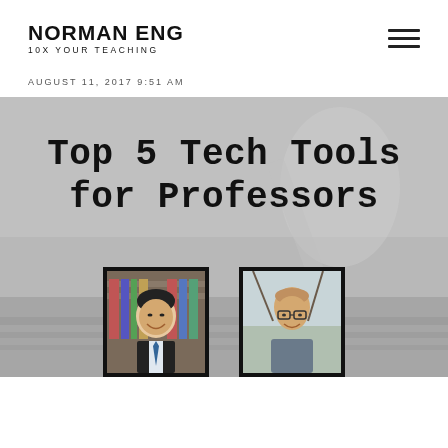NORMAN ENG
10X YOUR TEACHING
AUGUST 11, 2017 9:51 AM
[Figure (photo): Hero image with blurred laptop/desk background in grayscale. Overlaid text reads 'Top 5 Tech Tools for Professors' in a bold handwritten-style font. At the bottom are two portrait photos of men in black frames: one Asian man smiling in a library, one bald man with glasses outdoors.]